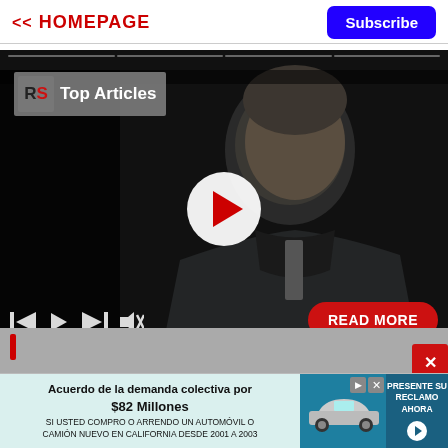<< HOMEPAGE
Subscribe
[Figure (screenshot): Video player showing a man in a suit with RS Top Articles logo overlay, play button, video controls, and READ MORE button]
[Figure (infographic): Advertisement banner: Acuerdo de la demanda colectiva por $82 Millones - SI USTED COMPRO O ARRENDO UN AUTOMÓVIL O CAMIÓN NUEVO EN CALIFORNIA DESDE 2001 A 2003 - PRESENTE SU RECLAMO AHORA]